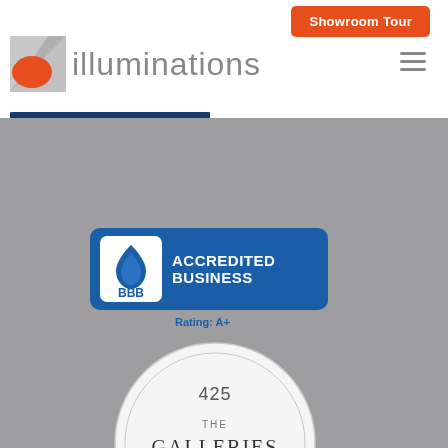[Figure (logo): Illuminations company logo with stylized square icon (grey and red) and grey text 'illuminations']
[Figure (logo): BBB Accredited Business badge with Rating A+]
[Figure (logo): The Galleries of Peachtree Hills circular seal badge with '425' and 'Antiques / Interiors / Fine Art']